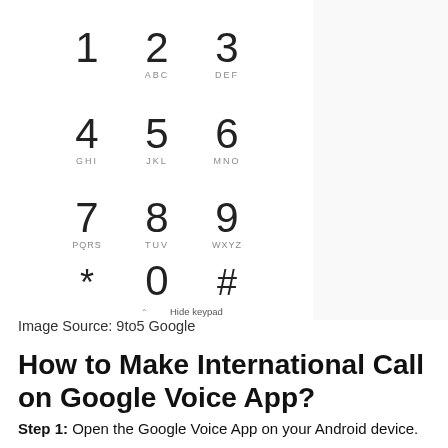[Figure (screenshot): Android phone dialer keypad screenshot showing numeric keys 1-9, *, 0, # with letter labels (ABC, DEF, GHI, JKL, MNO, PQRS, TUV, WXYZ) and a Hide keypad button at the bottom.]
Image Source: 9to5 Google
How to Make International Call on Google Voice App?
Step 1: Open the Google Voice App on your Android device.